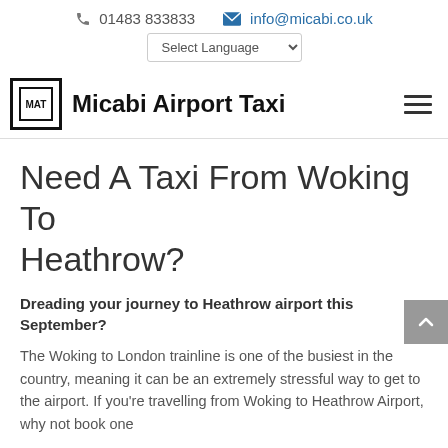01483 833833   info@micabi.co.uk
Select Language
[Figure (logo): Micabi Airport Taxi logo with MAT initials in a bordered box next to the text 'Micabi Airport Taxi']
Need A Taxi From Woking To Heathrow?
Dreading your journey to Heathrow airport this September?
The Woking to London trainline is one of the busiest in the country, meaning it can be an extremely stressful way to get to the airport. If you're travelling from Woking to Heathrow Airport, why not book one